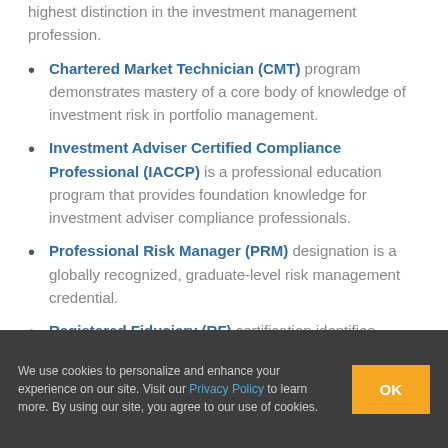highest distinction in the investment management profession.
Chartered Market Technician (CMT) program demonstrates mastery of a core body of knowledge of investment risk in portfolio management.
Investment Adviser Certified Compliance Professional (IACCP) is a professional education program that provides foundation knowledge for investment adviser compliance professionals.
Professional Risk Manager (PRM) designation is a globally recognized, graduate-level risk management credential.
Registered Fiduciary (RF) certification identifies financial professionals that have met the necessary requirements to serve in the important new role of
We use cookies to personalize and enhance your experience on our site. Visit our Privacy Policy to learn more. By using our site, you agree to our use of cookies.